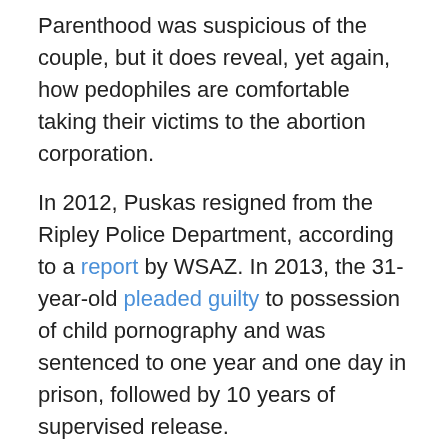Parenthood was suspicious of the couple, but it does reveal, yet again, how pedophiles are comfortable taking their victims to the abortion corporation.
In 2012, Puskas resigned from the Ripley Police Department, according to a report by WSAZ. In 2013, the 31-year-old pleaded guilty to possession of child pornography and was sentenced to one year and one day in prison, followed by 10 years of supervised release.
Washington State: George Savanah
Earlier this year, Live Action News documented the horrific sexual abuse case of George Edward Savanah, who sexually abused his 14-year-old daughter, impregnating her three times, then took her to two different Planned Parenthood facilities for abortions.